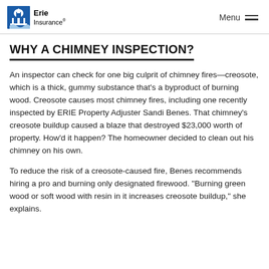Erie Insurance | Menu
WHY A CHIMNEY INSPECTION?
An inspector can check for one big culprit of chimney fires—creosote, which is a thick, gummy substance that's a byproduct of burning wood. Creosote causes most chimney fires, including one recently inspected by ERIE Property Adjuster Sandi Benes. That chimney's creosote buildup caused a blaze that destroyed $23,000 worth of property. How'd it happen? The homeowner decided to clean out his chimney on his own.
To reduce the risk of a creosote-caused fire, Benes recommends hiring a pro and burning only designated firewood. "Burning green wood or soft wood with resin in it increases creosote buildup," she explains.